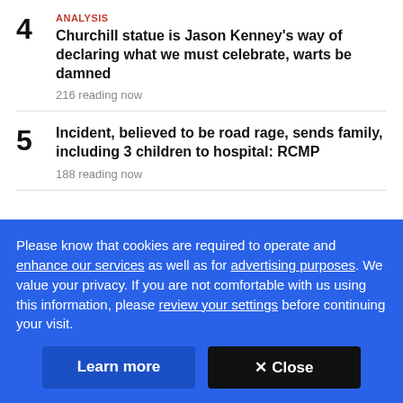4 ANALYSIS — Churchill statue is Jason Kenney's way of declaring what we must celebrate, warts be damned — 216 reading now
5 — Incident, believed to be road rage, sends family, including 3 children to hospital: RCMP — 188 reading now
Please know that cookies are required to operate and enhance our services as well as for advertising purposes. We value your privacy. If you are not comfortable with us using this information, please review your settings before continuing your visit.